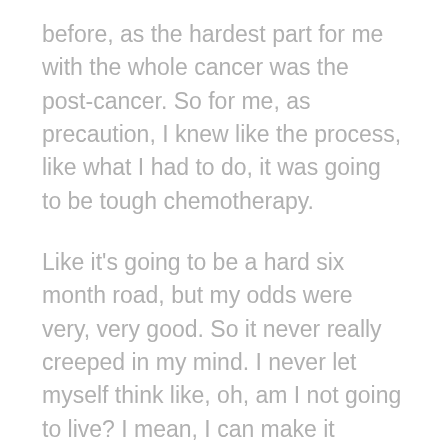before, as the hardest part for me with the whole cancer was the post-cancer. So for me, as precaution, I knew like the process, like what I had to do, it was going to be tough chemotherapy.
Like it's going to be a hard six month road, but my odds were very, very good. So it never really creeped in my mind. I never let myself think like, oh, am I not going to live? I mean, I can make it through this, but I was like, I'm going to get through this and get right back to normal life. And I'm going to be fine things, zoom just a little blip in my road, but I was wrong.